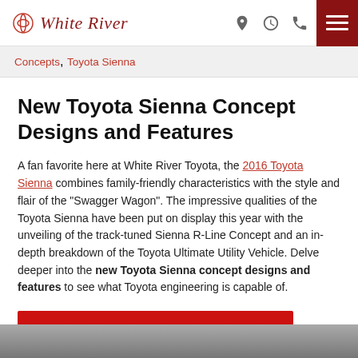White River
Concepts, Toyota Sienna
New Toyota Toyota Sienna Concept Designs and Features
A fan favorite here at White River Toyota, the 2016 Toyota Sienna combines family-friendly characteristics with the style and flair of the "Swagger Wagon". The impressive qualities of the Toyota Sienna have been put on display this year with the unveiling of the track-tuned Sienna R-Line Concept and an in-depth breakdown of the Toyota Ultimate Utility Vehicle. Delve deeper into the new Toyota Sienna concept designs and features to see what Toyota engineering is capable of.
Read the rest of this entry
[Figure (photo): Bottom image strip showing a vehicle scene]